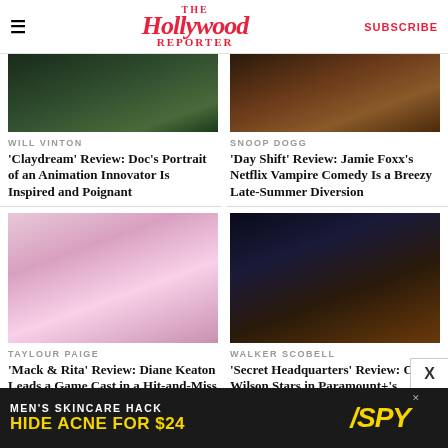THE Hollywood REPORTER | SUBSCRIBE
[Figure (photo): Dark crowd scene, Will Vinton article image]
WILL VINTON
'Claydream' Review: Doc's Portrait of an Animation Innovator Is Inspired and Poignant
[Figure (photo): Warm-toned scene with Snoop Dogg Day Shift article image]
SNOOP DOGG
'Day Shift' Review: Jamie Foxx's Netflix Vampire Comedy Is a Breezy Late-Summer Diversion
[Figure (photo): Person in cream beret taking selfie, pink neon background - Taylour Paige]
TAYLOUR PAIGE
'Mack & Rita' Review: Diane Keaton Leads a Game Cast in a Hit-and-Miss Body-
[Figure (photo): Dark nighttime scene man holding glowing orb - Walker Scobell]
WALKER SCOBELL
'Secret Headquarters' Review: Owen Wilson Stars in Paramount+'s Routine
MEN'S SKINCARE HACK HIDE ACNE FOR $24 SPY